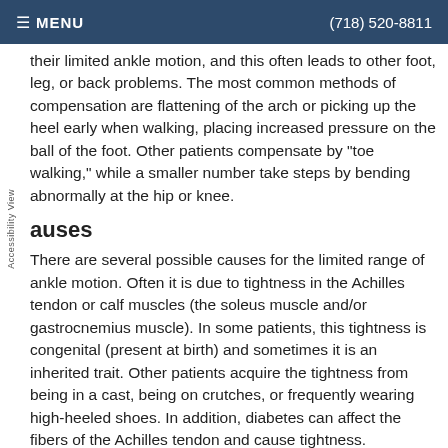MENU   (718) 520-8811
their limited ankle motion, and this often leads to other foot, leg, or back problems. The most common methods of compensation are flattening of the arch or picking up the heel early when walking, placing increased pressure on the ball of the foot. Other patients compensate by "toe walking," while a smaller number take steps by bending abnormally at the hip or knee.
Causes
There are several possible causes for the limited range of ankle motion. Often it is due to tightness in the Achilles tendon or calf muscles (the soleus muscle and/or gastrocnemius muscle). In some patients, this tightness is congenital (present at birth) and sometimes it is an inherited trait. Other patients acquire the tightness from being in a cast, being on crutches, or frequently wearing high-heeled shoes. In addition, diabetes can affect the fibers of the Achilles tendon and cause tightness.